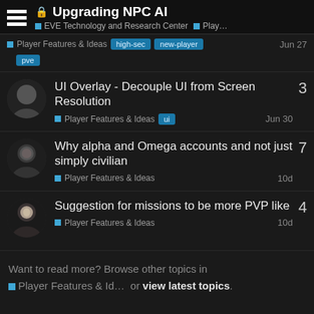Upgrading NPC AI — EVE Technology and Research Center | Player Features & Ideas
Player Features & Ideas | high-sec | new-player | pve | Jun 27
UI Overlay - Decouple UI from Screen Resolution | Player Features & Ideas | ui | Jun 30 | 3 replies
Why alpha and Omega accounts and not just simply civilian | Player Features & Ideas | 10d | 7 replies
Suggestion for missions to be more PVP like | Player Features & Ideas | 10d | 4 replies
Want to read more? Browse other topics in Player Features & Id... or view latest topics.